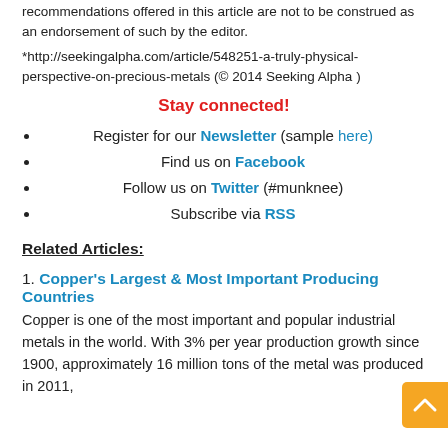recommendations offered in this article are not to be construed as an endorsement of such by the editor.
*http://seekingalpha.com/article/548251-a-truly-physical-perspective-on-precious-metals (© 2014 Seeking Alpha )
Stay connected!
Register for our Newsletter (sample here)
Find us on Facebook
Follow us on Twitter (#munknee)
Subscribe via RSS
Related Articles:
1. Copper's Largest & Most Important Producing Countries
Copper is one of the most important and popular industrial metals in the world. With 3% per year production growth since 1900, approximately 16 million tons of the metal was produced in 2011,